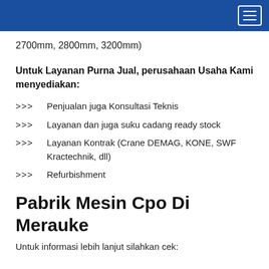2700mm, 2800mm, 3200mm)
Untuk Layanan Purna Jual, perusahaan Usaha Kami menyediakan:
>>> Penjualan juga Konsultasi Teknis
>>> Layanan dan juga suku cadang ready stock
>>> Layanan Kontrak (Crane DEMAG, KONE, SWF Kractechnik, dll)
>>> Refurbishment
Pabrik Mesin Cpo Di Merauke
Untuk informasi lebih lanjut silahkan cek: